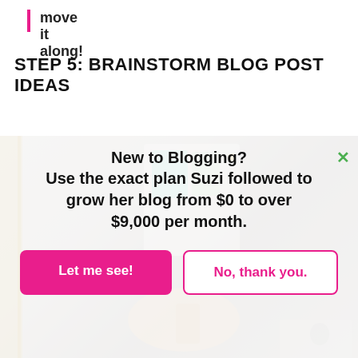move it along!
STEP 5: BRAINSTORM BLOG POST IDEAS
[Figure (screenshot): Popup overlay on a blurred lifestyle photo background showing a blogging promotional message with two buttons. Text reads: 'New to Blogging? Use the exact plan Suzi followed to grow her blog from $0 to over $9,000 per month.' with buttons 'Let me see!' and 'No, thank you.' and a green X close button.]